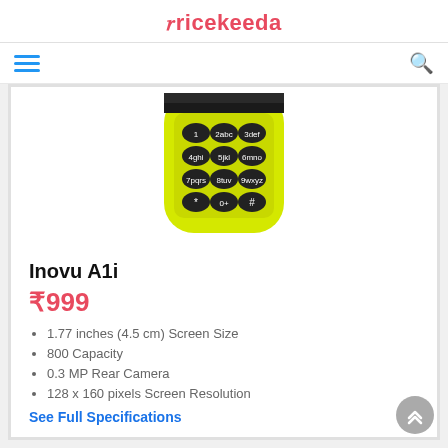Pricekeeda
[Figure (photo): Yellow Nokia-style feature phone showing keypad with numeric buttons on yellow body, cropped to show lower portion of phone]
Inovu A1i
₹999
1.77 inches (4.5 cm) Screen Size
800 Capacity
0.3 MP Rear Camera
128 x 160 pixels Screen Resolution
See Full Specifications